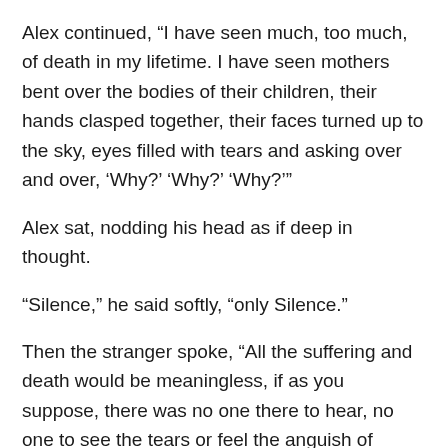Alex continued, “I have seen much, too much, of death in my lifetime. I have seen mothers bent over the bodies of their children, their hands clasped together, their faces turned up to the sky, eyes filled with tears and asking over and over, ‘Why?’ ‘Why?’ ‘Why?’”
Alex sat, nodding his head as if deep in thought.
“Silence,” he said softly, “only Silence.”
Then the stranger spoke, “All the suffering and death would be meaningless, if as you suppose, there was no one there to hear, no one to see the tears or feel the anguish of abandonment, if in the end there was only a cold, dark silence.  But it is not so, for death was conquered by death, and where death once reigned, hope